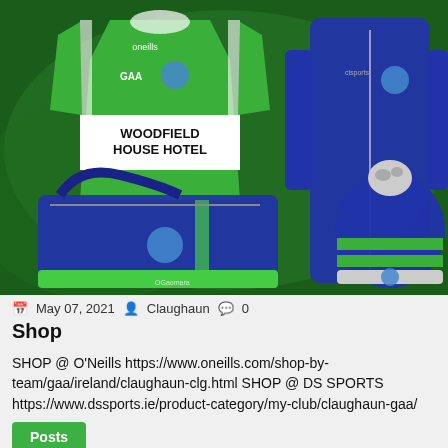[Figure (photo): Sports kit merchandise photo showing green and white GAA jersey with 'WOODFIELD HOUSE HOTEL' text and O'Neills logo, navy sports bag with club crest, and navy padded jacket with matching winter bobble hat featuring green stripes and club crest, all on dark green background]
May 07, 2021  Claughaun  0
Shop
SHOP @ O'Neills https://www.oneills.com/shop-by-team/gaa/ireland/claughaun-clg.html SHOP @ DS SPORTS https://www.dssports.ie/product-category/my-club/claughaun-gaa/
Posts
[Figure (photo): Bottom banner with green background showing 'INTRODUCING' text in white capital letters and partial face/head visible at bottom]